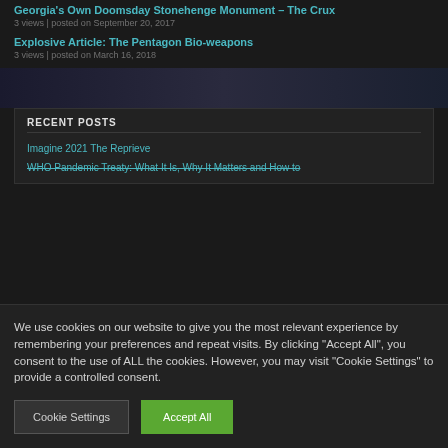Georgia's Own Doomsday Stonehenge Monument – The Crux
3 views | posted on September 20, 2017
Explosive Article: The Pentagon Bio-weapons
3 views | posted on March 16, 2018
RECENT POSTS
Imagine 2021 The Reprieve
WHO Pandemic Treaty: What It Is, Why It Matters and How to
We use cookies on our website to give you the most relevant experience by remembering your preferences and repeat visits. By clicking "Accept All", you consent to the use of ALL the cookies. However, you may visit "Cookie Settings" to provide a controlled consent.
Cookie Settings | Accept All